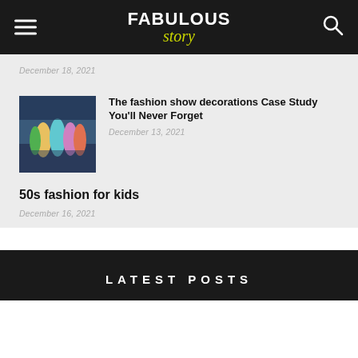FABULOUS story
December 18, 2021
The fashion show decorations Case Study You'll Never Forget
December 13, 2021
50s fashion for kids
December 16, 2021
LATEST POSTS